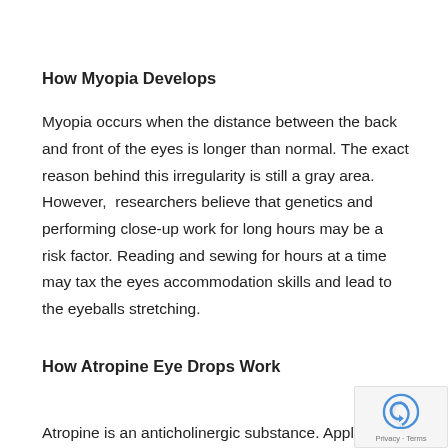How Myopia Develops
Myopia occurs when the distance between the back and front of the eyes is longer than normal. The exact reason behind this irregularity is still a gray area. However,  researchers believe that genetics and performing close-up work for long hours may be a risk factor. Reading and sewing for hours at a time may tax the eyes accommodation skills and lead to the eyeballs stretching.
How Atropine Eye Drops Work
Atropine is an anticholinergic substance. Applying